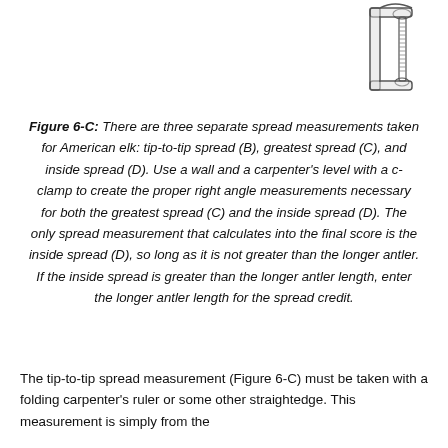[Figure (illustration): A c-clamp tool illustration, showing the screw mechanism and frame of a typical carpenter's c-clamp, positioned in the upper right of the page.]
Figure 6-C: There are three separate spread measurements taken for American elk: tip-to-tip spread (B), greatest spread (C), and inside spread (D). Use a wall and a carpenter's level with a c-clamp to create the proper right angle measurements necessary for both the greatest spread (C) and the inside spread (D). The only spread measurement that calculates into the final score is the inside spread (D), so long as it is not greater than the longer antler. If the inside spread is greater than the longer antler length, enter the longer antler length for the spread credit.
The tip-to-tip spread measurement (Figure 6-C) must be taken with a folding carpenter's ruler or some other straightedge. This measurement is simply from the